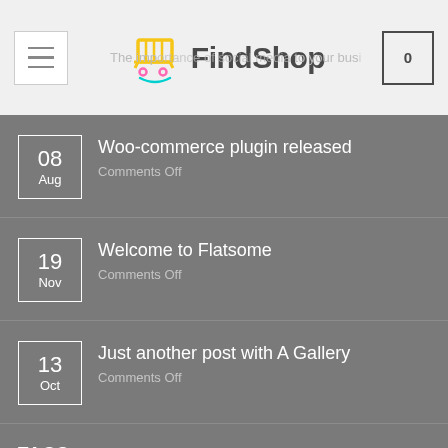FindShop — The importance of social media to your business
08 Aug — Woo-commerce plugin released — Comments Off
19 Nov — Welcome to Flatsome — Comments Off
13 Oct — Just another post with A Gallery — Comments Off
TAGS
SIGNUP FOR NEWSLETTER